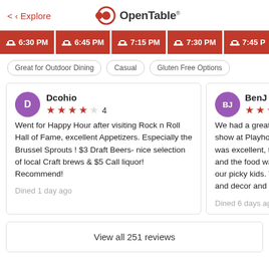< Explore   OpenTable
[Figure (other): OpenTable logo with red dot and circle icon]
6:30 PM  6:45 PM  7:15 PM  7:30 PM  7:45 PM (booking time buttons)
Great for Outdoor Dining  Casual  Gluten Free Options
Dcohio
★★★★☆ 4
Went for Happy Hour after visiting Rock n Roll Hall of Fame, excellent Appetizers. Especially the Brussel Sprouts ! $3 Draft Beers- nice selection of local Craft brews & $5 Call liquor! Recommend!
Dined 1 day ago
BenJ
★★★★★ 5
We had a great di... show at Playhouse... was excellent, the... and the food was... our picky kids. We... and decor and ... 
Dined 6 days ago
View all 251 reviews